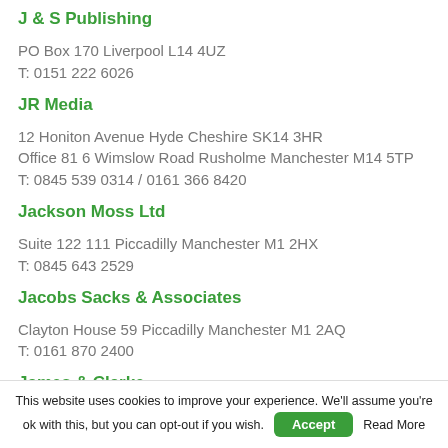J & S Publishing
PO Box 170 Liverpool L14 4UZ
T: 0151 222 6026
JR Media
12 Honiton Avenue Hyde Cheshire SK14 3HR
Office 81 6 Wimslow Road Rusholme Manchester M14 5TP
T: 0845 539 0314 / 0161 366 8420
Jackson Moss Ltd
Suite 122 111 Piccadilly Manchester M1 2HX
T: 0845 643 2529
Jacobs Sacks & Associates
Clayton House 59 Piccadilly Manchester M1 2AQ
T: 0161 870 2400
James & Clarke
BCR House 3 Bredbury Business Park Stockport Cheshire SK6 2SN
This website uses cookies to improve your experience. We'll assume you're ok with this, but you can opt-out if you wish.